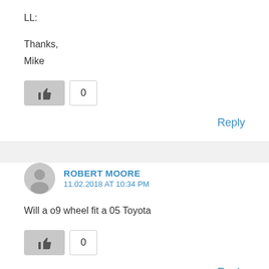LL:
Thanks,
Mike
Reply
ROBERT MOORE
11.02.2018 AT 10:34 PM
Will a o9 wheel fit a 05 Toyota
Reply